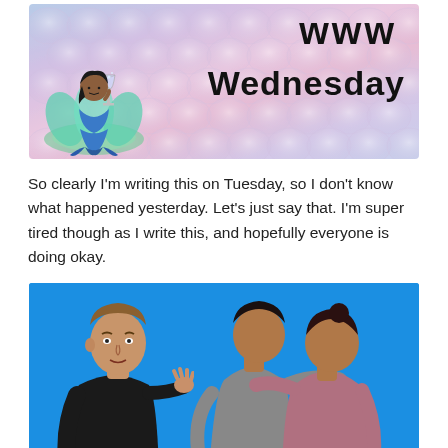[Figure (illustration): WWW Wednesday banner with iridescent fish scale background in pastel pink, purple and blue tones. A mermaid character illustration is on the left side. Bold black text reads 'www' on top and 'wednesday' below.]
So clearly I'm writing this on Tuesday, so I don't know what happened yesterday. Let's just say that. I'm super tired though as I write this, and hopefully everyone is doing okay.
[Figure (photo): Three people on a bright blue background. On the left, a man in a dark shirt. In the center and right, two people hugging or grappling, one with hand extended toward the man on the left.]